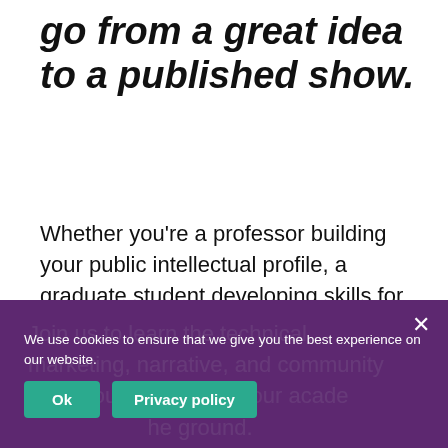go from a great idea to a published show.
Whether you're a professor building your public intellectual profile, a graduate student developing skills for diverse career paths, a librarian or research center director forging connections across institutions, or a department chair broadening your faculty's impact, this course can help.
Join us to learn the technical, marketing, narrative, and community skills you need to get your academic podcast off the ground.
We use cookies to ensure that we give you the best experience on our website.